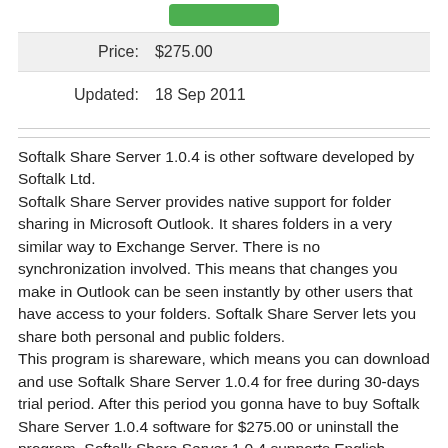[Figure (other): Green button at top]
| Price: | $275.00 |
Updated:    18 Sep 2011
Softalk Share Server 1.0.4 is other software developed by Softalk Ltd.
Softalk Share Server provides native support for folder sharing in Microsoft Outlook. It shares folders in a very similar way to Exchange Server. There is no synchronization involved. This means that changes you make in Outlook can be seen instantly by other users that have access to your folders. Softalk Share Server lets you share both personal and public folders.
This program is shareware, which means you can download and use Softalk Share Server 1.0.4 for free during 30-days trial period. After this period you gonna have to buy Softalk Share Server 1.0.4 software for $275.00 or uninstall the program. Softalk Share Server 1.0.4 supports English interface languages and works with Windows XP/Vista.